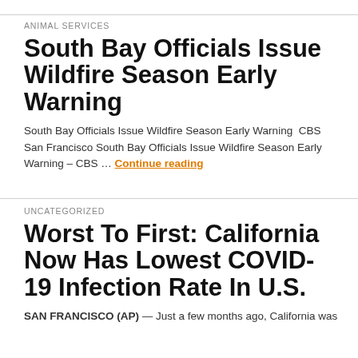ANIMAL SERVICES
South Bay Officials Issue Wildfire Season Early Warning
South Bay Officials Issue Wildfire Season Early Warning  CBS San Francisco South Bay Officials Issue Wildfire Season Early Warning – CBS … Continue reading
UNCATEGORIZED
Worst To First: California Now Has Lowest COVID-19 Infection Rate In U.S.
SAN FRANCISCO (AP) — Just a few months ago, California was